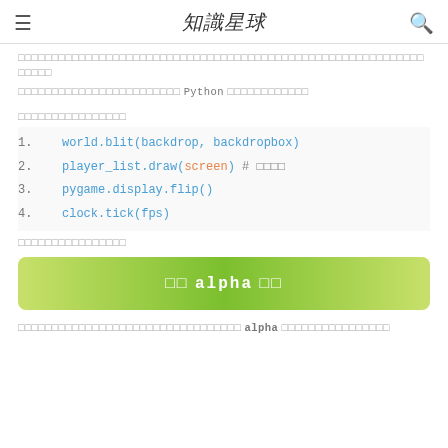知識星球
□□□□□□□□□□□□□□□□□□□□□□□□□□□□□□□□□□□□□□□□□□□□□□□□□□□□□□□
□□□□□□□□□□□□□□□□□□□□□□□□ Python □□□□□□□□□□□□
□□□□□□□□□□□□□□□□
world.blit(backdrop, backdropbox)
player_list.draw(screen) # □□□□
pygame.display.flip()
clock.tick(fps)
□□□□□□□□□□□□□□□□
[Figure (infographic): Green gradient banner with white bold text: □□ alpha □□]
□□□□□□□□□□□□□□□□□□□□□□□□□□□□□□□□□ alpha □□□□□□□□□□□□□□□□